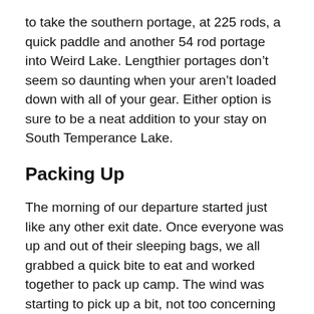to take the southern portage, at 225 rods, a quick paddle and another 54 rod portage into Weird Lake. Lengthier portages don’t seem so daunting when your aren’t loaded down with all of your gear. Either option is sure to be a neat addition to your stay on South Temperance Lake.
Packing Up
The morning of our departure started just like any other exit date. Once everyone was up and out of their sleeping bags, we all grabbed a quick bite to eat and worked together to pack up camp. The wind was starting to pick up a bit, not too concerning at first, we just knew that Brule would be tough.
By midmorning we were getting concerned. From our vantage point campsite we could see the approaching